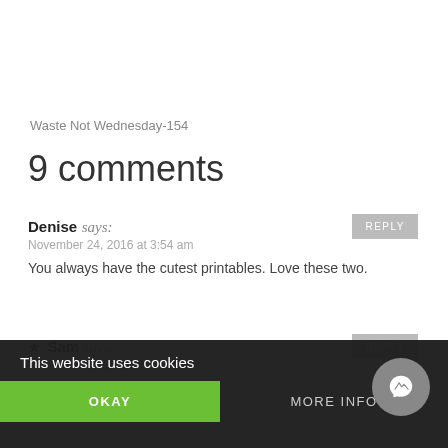Waste Not Wednesday-154
9 comments
Denise says:
November 24, 2016 at 3:54 am
You always have the cutest printables. Love these two.
★ Sam says:
November 24, 2016 at 7:36 am
Thank you Denise!
This website uses cookies
OKAY
MORE INFO